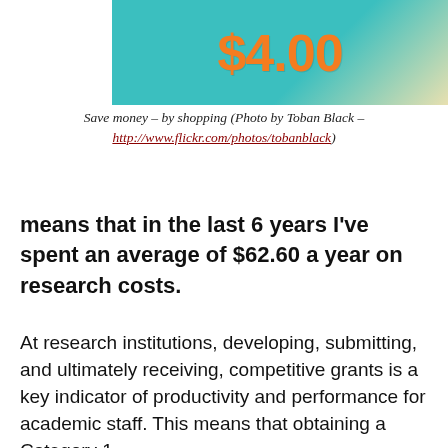[Figure (photo): A promotional/retail image showing '$4.00' in large orange text on a teal background, partially cropped.]
Save money – by shopping (Photo by Toban Black – http://www.flickr.com/photos/tobanblack)
means that in the last 6 years I've spent an average of $62.60 a year on research costs.
At research institutions, developing, submitting, and ultimately receiving, competitive grants is a key indicator of productivity and performance for academic staff. This means that obtaining a Category 1